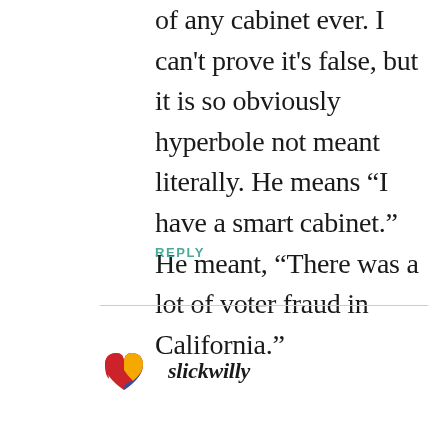of any cabinet ever. I can't prove it's false, but it is so obviously hyperbole not meant literally. He means “I have a smart cabinet.” He meant, “There was a lot of voter fraud in California.”
REPLY
slickwilly